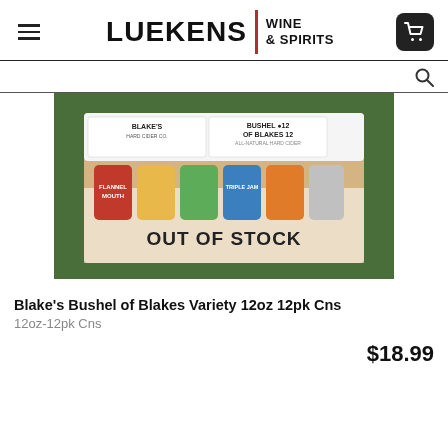LUEKENS WINE & SPIRITS
[Figure (screenshot): Product image of Blake's Bushel of Blakes Variety 12oz 12pk Cns with 'OUT OF STOCK' overlay text]
Blake's Bushel of Blakes Variety 12oz 12pk Cns
12oz-12pk Cns
$18.99